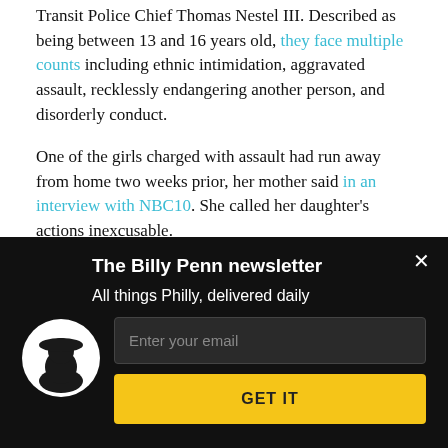Transit Police Chief Thomas Nestel III. Described as being between 13 and 16 years old, they face multiple counts including ethnic intimidation, aggravated assault, recklessly endangering another person, and disorderly conduct.
One of the girls charged with assault had run away from home two weeks prior, her mother said in an interview with NBC10. She called her daughter's actions inexcusable.
[Figure (other): Billy Penn newsletter signup modal with dark background, logo of man in hat silhouette, title 'The Billy Penn newsletter', subtitle 'All things Philly, delivered daily', email input field, and yellow GET IT button]